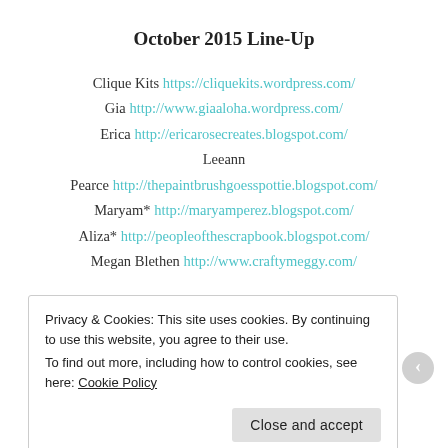October 2015 Line-Up
Clique Kits https://cliquekits.wordpress.com/
Gia http://www.giaaloha.wordpress.com/
Erica http://ericarosecreates.blogspot.com/
Leeann
Pearce http://thepaintbrushgoesspottie.blogspot.com/
Maryam* http://maryamperez.blogspot.com/
Aliza* http://peopleofthescrapbook.blogspot.com/
Megan Blethen http://www.craftymeggy.com/
Privacy & Cookies: This site uses cookies. By continuing to use this website, you agree to their use.
To find out more, including how to control cookies, see here: Cookie Policy